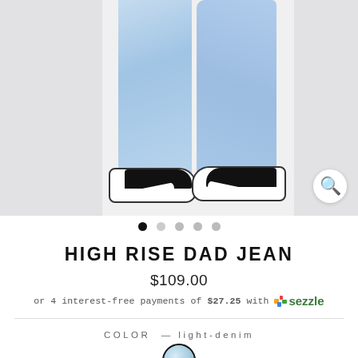[Figure (photo): Product photo showing lower body of model wearing light-wash high rise dad jeans and black/white Nike sneakers, against a grey-white background. Magnifying glass icon in bottom-right corner.]
• • • • •  (carousel navigation dots, first dot active)
HIGH RISE DAD JEAN
$109.00
or 4 interest-free payments of $27.25 with Sezzle
COLOR — light-denim
[Figure (other): Light denim color swatch circle with dark border]